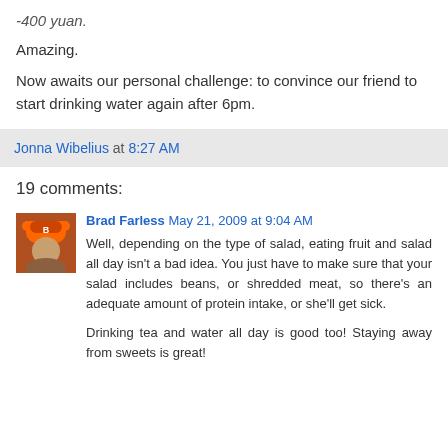-400 yuan.
Amazing.
Now awaits our personal challenge: to convince our friend to start drinking water again after 6pm.
Jonna Wibelius at 8:27 AM
19 comments:
Brad Farless May 21, 2009 at 9:04 AM
Well, depending on the type of salad, eating fruit and salad all day isn't a bad idea. You just have to make sure that your salad includes beans, or shredded meat, so there's an adequate amount of protein intake, or she'll get sick.
Drinking tea and water all day is good too! Staying away from sweets is great!